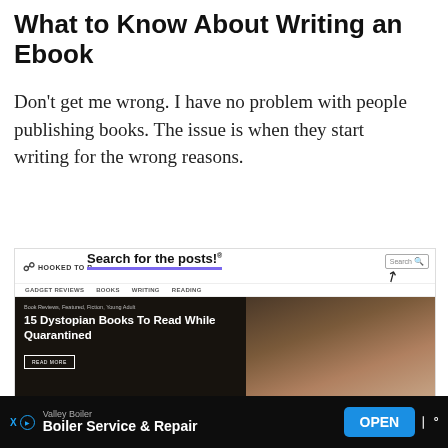What to Know About Writing an Ebook
Don't get me wrong. I have no problem with people publishing books. The issue is when they start writing for the wrong reasons.
[Figure (screenshot): Screenshot of 'Hooked to Books' website showing navigation bar with GADGET REVIEWS, BOOKS, WRITING, READING links, a search bar, a 'Search for the posts!' overlay promo, and a hero image featuring '15 Dystopian Books To Read While Quarantined' with a READ MORE button, followed by a 'Join Our Book-Lovin' Community!' signup section.]
Valley Boiler | Boiler Service & Repair | OPEN